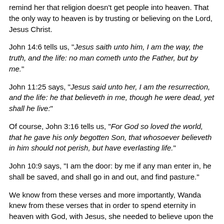remind her that religion doesn't get people into heaven. That the only way to heaven is by trusting or believing on the Lord, Jesus Christ.
John 14:6 tells us, "Jesus saith unto him, I am the way, the truth, and the life: no man cometh unto the Father, but by me."
John 11:25 says, "Jesus said unto her, I am the resurrection, and the life: he that believeth in me, though he were dead, yet shall he live:"
Of course, John 3:16 tells us, "For God so loved the world, that he gave his only begotten Son, that whosoever believeth in him should not perish, but have everlasting life."
John 10:9 says, "I am the door: by me if any man enter in, he shall be saved, and shall go in and out, and find pasture."
We know from these verses and more importantly, Wanda knew from these verses that in order to spend eternity in heaven with God, with Jesus, she needed to believe upon the...